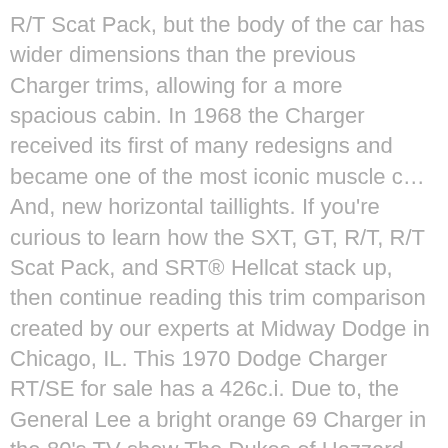R/T Scat Pack, but the body of the car has wider dimensions than the previous Charger trims, allowing for a more spacious cabin. In 1968 the Charger received its first of many redesigns and became one of the most iconic muscle c… And, new horizontal taillights. If you're curious to learn how the SXT, GT, R/T, R/T Scat Pack, and SRT® Hellcat stack up, then continue reading this trim comparison created by our experts at Midway Dodge in Chicago, IL. This 1970 Dodge Charger RT/SE for sale has a 426c.i. Due to, the General Lee a bright orange 69 Charger in the 80's TV show The Dukes of Hazzard. The 2016 Dodge Charger is a full-size sedan offered in SE, SXT, R/T, R/T Road & Track, R/T Scat Pack, SRT 392 and SRT Hellcat trims. Check out ⓘ the new Dodge Charger ⓘ test drive review: price details, trims, and specs overview, interior features, exterior design, MPG and mileage capacity, dimensions. The Chargers dominating the street, the strip, and NASCAR that year. So, Dodge Studios redesigned the new 66 Dodge Coronet. The Charger is a midsize rear-wheel drive 2 Door Hardtop build on